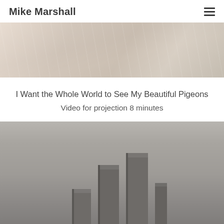Mike Marshall
[Figure (photo): A faded/washed-out photograph showing an indoor scene with chairs and a table, warm brown tones with low contrast, appearing at the top of the page beneath the navigation header.]
I Want the Whole World to See My Beautiful Pigeons
Video for projection 8 minutes
[Figure (photo): A black and white photograph showing several tall rectangular wooden or concrete blocks/pillars standing upright against a grey background. Approximately three to four blocks of varying heights are visible.]